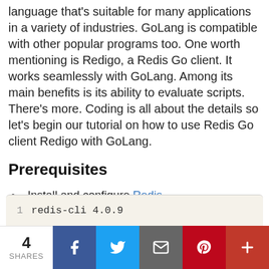language that's suitable for many applications in a variety of industries. GoLang is compatible with other popular programs too. One worth mentioning is Redigo, a Redis Go client. It works seamlessly with GoLang. Among its main benefits is its ability to evaluate scripts. There's more. Coding is all about the details so let's begin our tutorial on how to use Redis Go client Redigo with GoLang.
Prerequisites
Install and configure Redis.
Verify your version of Redis with the command redis-cli --version. You should see a result similar to this one below:
[Figure (screenshot): Code block showing: 1  redis-cli 4.0.9]
4 SHARES  [Facebook] [Twitter] [Email] [Pinterest] [More]